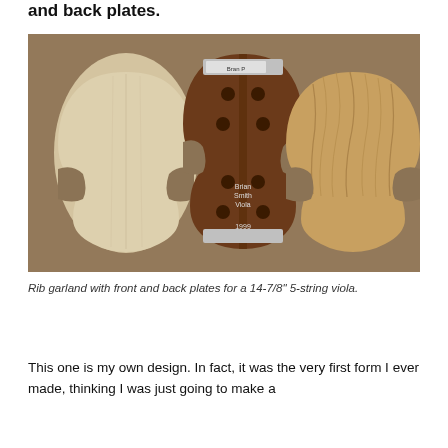and back plates.
[Figure (photo): Rib garland with front and back plates for a 14-7/8 inch 5-string viola. Three wooden violin/viola body shapes arranged on a workbench: a plain spruce front plate on the left, a dark brown rib garland mold in the center with holes and labels reading 'Brian Smith Viola 1999', and a flame maple back plate on the right.]
Rib garland with front and back plates for a 14-7/8" 5-string viola.
This one is my own design. In fact, it was the very first form I ever made, thinking I was just going to make a